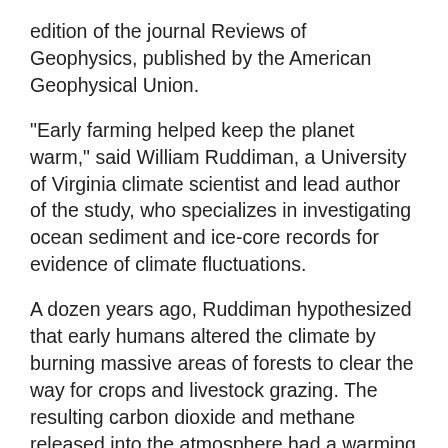edition of the journal Reviews of Geophysics, published by the American Geophysical Union.
"Early farming helped keep the planet warm," said William Ruddiman, a University of Virginia climate scientist and lead author of the study, who specializes in investigating ocean sediment and ice-core records for evidence of climate fluctuations.
A dozen years ago, Ruddiman hypothesized that early humans altered the climate by burning massive areas of forests to clear the way for crops and livestock grazing. The resulting carbon dioxide and methane released into the atmosphere had a warming effect that "cancelled most or all of a natural cooling that should have occurred," he said.
That idea, which came to be known as the "early anthropogenic hypothesis" was hotly debated for years by